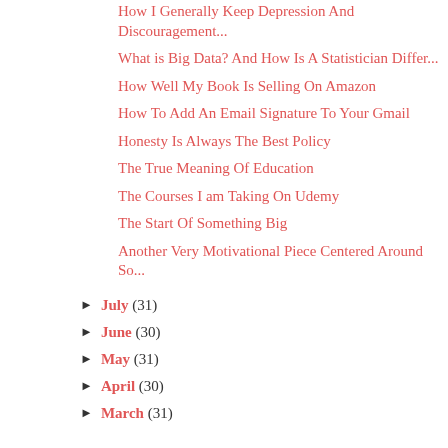How I Generally Keep Depression And Discouragement...
What is Big Data? And How Is A Statistician Differ...
How Well My Book Is Selling On Amazon
How To Add An Email Signature To Your Gmail
Honesty Is Always The Best Policy
The True Meaning Of Education
The Courses I am Taking On Udemy
The Start Of Something Big
Another Very Motivational Piece Centered Around So...
► July (31)
► June (30)
► May (31)
► April (30)
► March (31)